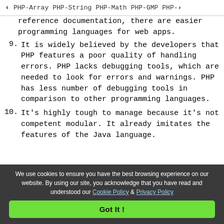< PHP-Array   PHP-String   PHP-Math   PHP-GMP   PHP->
reference documentation, there are easier programming languages for web apps.
9. It is widely believed by the developers that PHP features a poor quality of handling errors. PHP lacks debugging tools, which are needed to look for errors and warnings. PHP has less number of debugging tools in comparison to other programming languages.
10. It's highly tough to manage because it's not competent modular. It already imitates the features of the Java language.
We use cookies to ensure you have the best browsing experience on our website. By using our site, you acknowledge that you have read and understood our Cookie Policy & Privacy Policy
Got It !